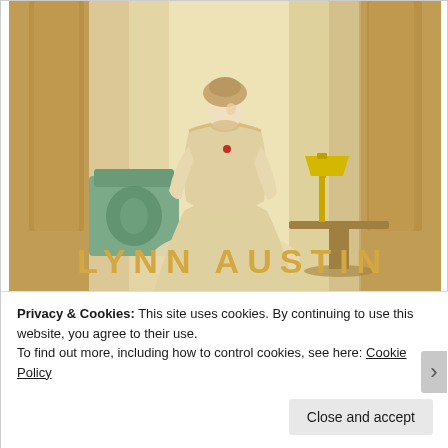[Figure (photo): Book cover image showing a woman in an ornate cream/gold lace Edwardian dress standing in an elegant room with classical columns, a green chair, and a gold lamp. The author name LYNN AUSTIN appears in large gold letters at the bottom of the image.]
Privacy & Cookies: This site uses cookies. By continuing to use this website, you agree to their use.
To find out more, including how to control cookies, see here: Cookie Policy